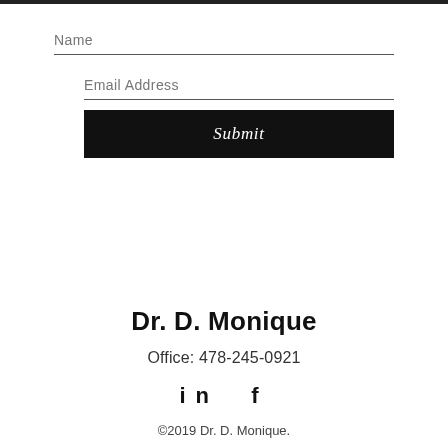Name
Email Address
Submit
Dr. D. Monique
Office: 478-245-0921
[Figure (other): Social media icons: LinkedIn (in) and Facebook (f)]
©2019 Dr. D. Monique.